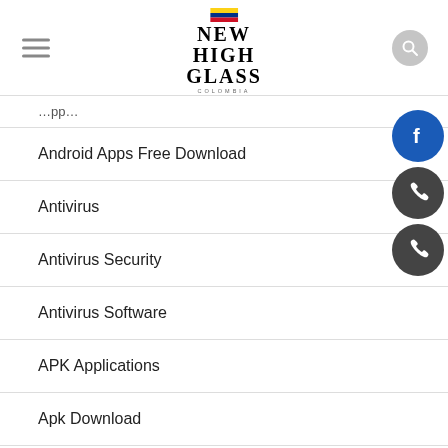NEW HIGH GLASS COLOMBIA
Android Apps Free Download
Antivirus
Antivirus Security
Antivirus Software
APK Applications
Apk Download
APK Games